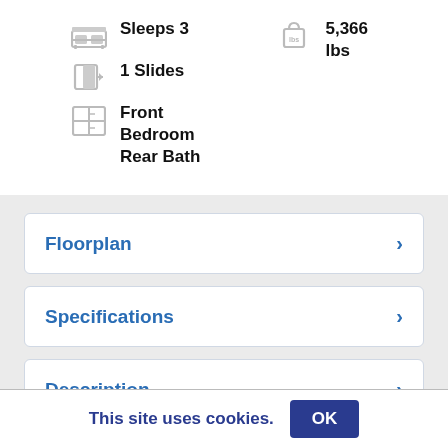Sleeps 3
5,366 lbs
1 Slides
Front Bedroom
Rear Bath
Floorplan
Specifications
Description
This site uses cookies.